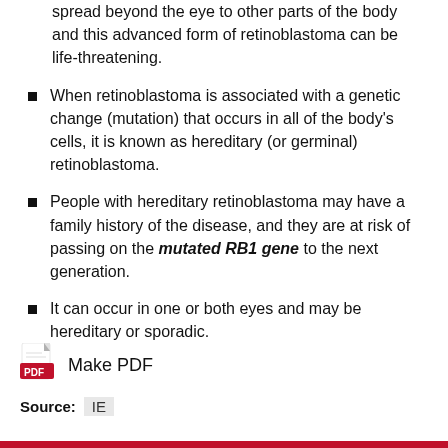spread beyond the eye to other parts of the body and this advanced form of retinoblastoma can be life-threatening.
When retinoblastoma is associated with a genetic change (mutation) that occurs in all of the body's cells, it is known as hereditary (or germinal) retinoblastoma.
People with hereditary retinoblastoma may have a family history of the disease, and they are at risk of passing on the mutated RB1 gene to the next generation.
It can occur in one or both eyes and may be hereditary or sporadic.
[Figure (logo): PDF icon — red Adobe PDF logo]
Make PDF
Source: IE